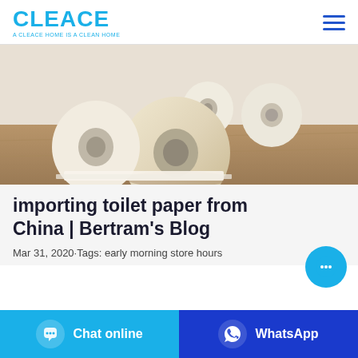CLEACE — A CLEACE HOME IS A CLEAN HOME
[Figure (photo): Rolls of toilet paper on a wooden surface, close-up photo with warm beige tones]
importing toilet paper from China | Bertram's Blog
Mar 31, 2020·Tags: early morning store hours
Chat online
WhatsApp